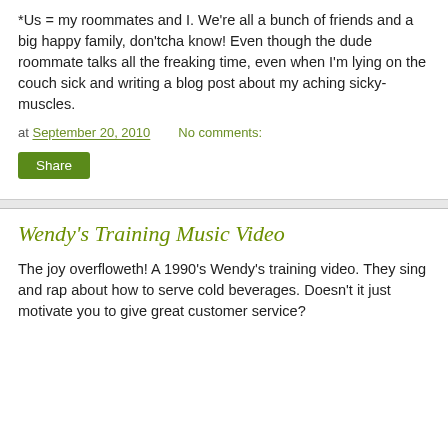*Us = my roommates and I.  We're all a bunch of friends and a big happy family, don'tcha know!  Even though the dude roommate talks all the freaking time, even when I'm lying on the couch sick and writing a blog post about my aching sicky-muscles.
at September 20, 2010    No comments:
Share
Wendy's Training Music Video
The joy overfloweth!  A 1990's Wendy's training video.  They sing and rap about how to serve cold beverages.  Doesn't it just motivate you to give great customer service?